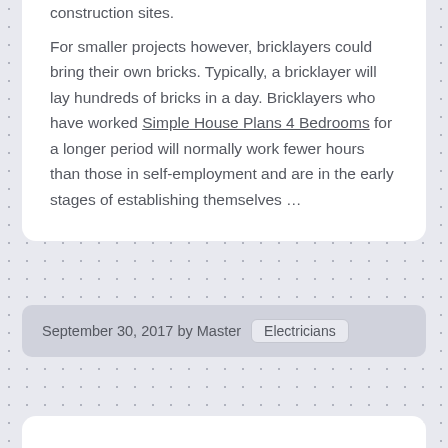construction sites.
For smaller projects however, bricklayers could bring their own bricks. Typically, a bricklayer will lay hundreds of bricks in a day. Bricklayers who have worked Simple House Plans 4 Bedrooms for a longer period will normally work fewer hours than those in self-employment and are in the early stages of establishing themselves ...
September 30, 2017 by Master  Electricians